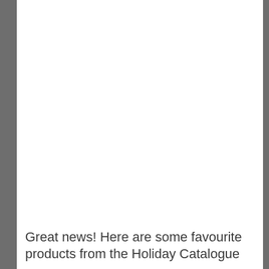Great news! Here are some favourite products from the Holiday Catalogue